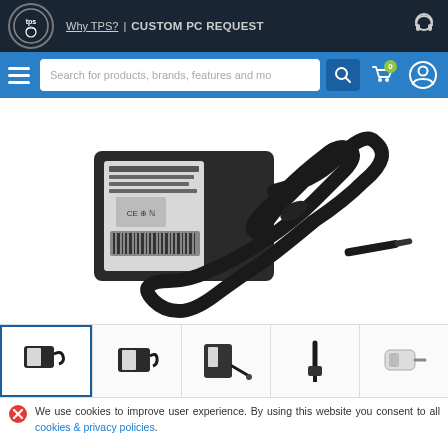[Figure (screenshot): TPS website header with logo, navigation links 'Why TPS?' and 'CUSTOM PC REQUEST', headphone icon]
[Figure (screenshot): Blue search bar with hamburger menu, search input field 'Search for products, brands, features and more', search button, cart icon with 0 items, user icon]
[Figure (photo): Dell laptop power adapter/charger with black cable coiled, showing label with CE markings and specifications]
[Figure (photo): Thumbnail row showing 5 product images of the power adapter from different angles, first one highlighted with blue border]
We use cookies to improve user experience. By using this website you consent to all cookies & privacy policies.